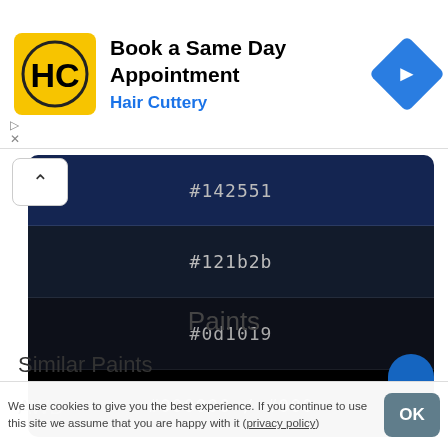[Figure (screenshot): Hair Cuttery advertisement banner — 'Book a Same Day Appointment' with yellow HC logo and blue navigation arrow icon]
[Figure (screenshot): Dark color swatch panel showing hex codes: #142551, #121b2b, #0d1019, #000000 / #000 on increasingly dark backgrounds with a collapse chevron button]
Paints
Similar Paints
AWD
We use cookies to give you the best experience. If you continue to use this site we assume that you are happy with it (privacy policy)